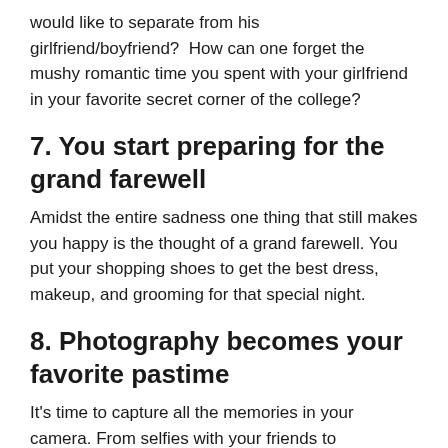would like to separate from his girlfriend/boyfriend?  How can one forget the mushy romantic time you spent with your girlfriend in your favorite secret corner of the college?
7. You start preparing for the grand farewell
Amidst the entire sadness one thing that still makes you happy is the thought of a grand farewell. You put your shopping shoes to get the best dress, makeup, and grooming for that special night.
8. Photography becomes your favorite pastime
It's time to capture all the memories in your camera. From selfies with your friends to panoramic shots of your college and playground, this is the time when you suddenly find